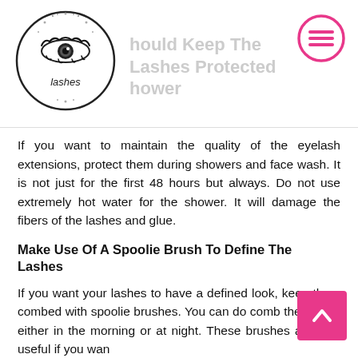Should Keep The Lashes Protected In Shower
If you want to maintain the quality of the eyelash extensions, protect them during showers and face wash. It is not just for the first 48 hours but always. Do not use extremely hot water for the shower. It will damage the fibers of the lashes and glue.
Make Use Of A Spoolie Brush To Define The Lashes
If you want your lashes to have a defined look, keep them combed with spoolie brushes. You can do comb the lashes either in the morning or at night. These brushes are also useful if you want to create curls on the lashes.
How To Remove The Lash Extension?